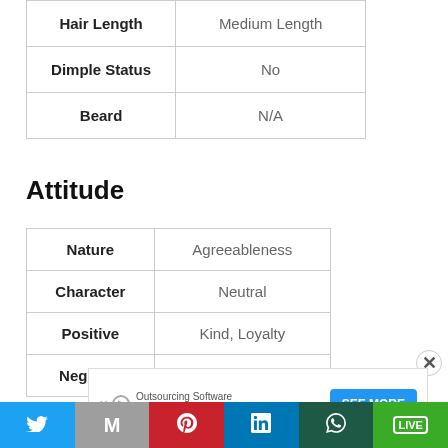| Attribute | Value |
| --- | --- |
| Hair Length | Medium Length |
| Dimple Status | No |
| Beard | N/A |
Attitude
| Attribute | Value |
| --- | --- |
| Nature | Agreeableness |
| Character | Neutral |
| Positive | Kind, Loyalty |
| Negative | Not Known |
[Figure (other): Advertisement banner for Outsourcing Software with SEE MORE button]
[Figure (other): Social media sharing bar with Twitter, Gmail, Pinterest, LinkedIn, WhatsApp, LINE buttons]